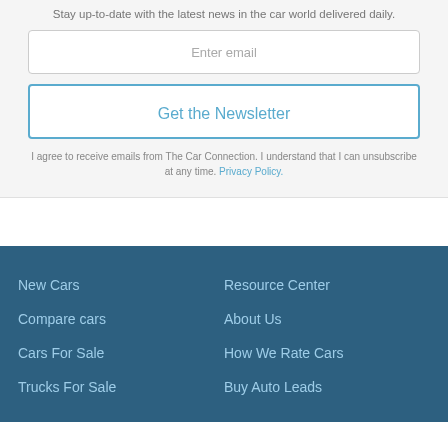Stay up-to-date with the latest news in the car world delivered daily.
Enter email
Get the Newsletter
I agree to receive emails from The Car Connection. I understand that I can unsubscribe at any time. Privacy Policy.
New Cars
Compare cars
Cars For Sale
Trucks For Sale
Resource Center
About Us
How We Rate Cars
Buy Auto Leads